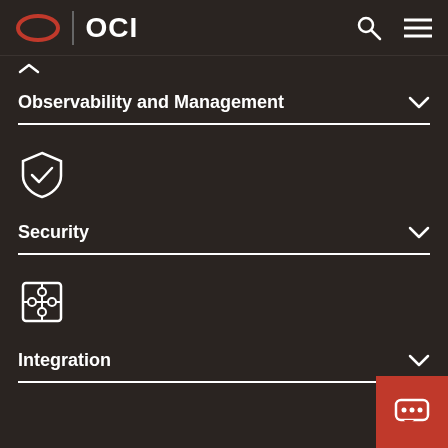OCI
Observability and Management
Security
Integration